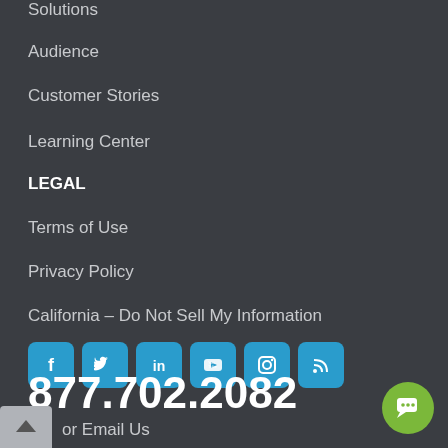Solutions
Audience
Customer Stories
Learning Center
LEGAL
Terms of Use
Privacy Policy
California – Do Not Sell My Information
[Figure (infographic): Row of 6 social media icon buttons: Facebook, Twitter, LinkedIn, YouTube, Instagram, RSS]
877.702.2082
or Email Us